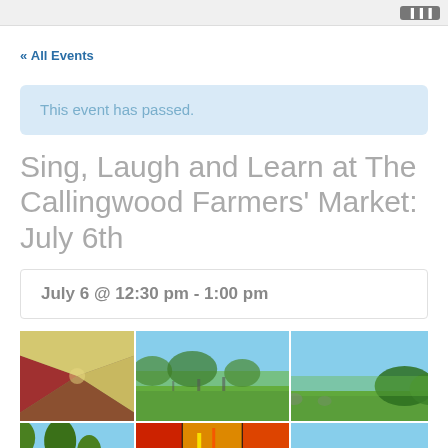« All Events
This event has passed.
Sing, Laugh and Learn at The Callingwood Farmers' Market: July 6th
July 6 @ 12:30 pm - 1:00 pm
[Figure (photo): Photo collage showing farmers market scenes: colorful fabric/parachute, people on green field, trees, colorful abstract art. Bottom center shows partial text 'Mini MozArts'.]